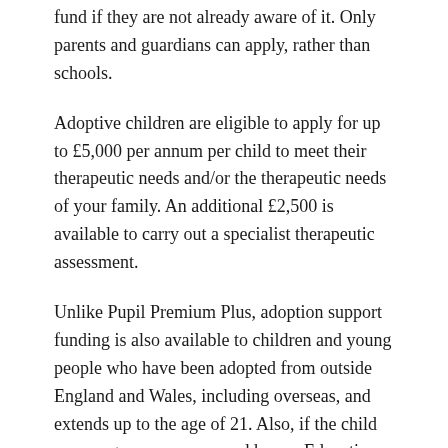fund if they are not already aware of it. Only parents and guardians can apply, rather than schools.
Adoptive children are eligible to apply for up to £5,000 per annum per child to meet their therapeutic needs and/or the therapeutic needs of your family. An additional £2,500 is available to carry out a specialist therapeutic assessment.
Unlike Pupil Premium Plus, adoption support funding is also available to children and young people who have been adopted from outside England and Wales, including overseas, and extends up to the age of 21. Also, if the child or young person concerned has an Education Health and Care Plan (EHCP) they may access the fund until they are 25. To access this funding families will need to be assessed by their local Adoption Support Service and they will be